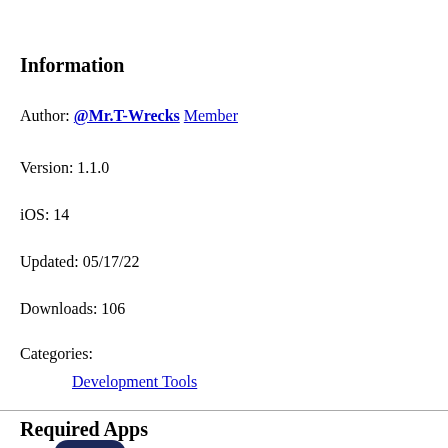Information
Author: @Mr.T-Wrecks Member
Version: 1.1.0
iOS: 14
Updated: 05/17/22
Downloads: 106
Categories:
Development Tools
Required Apps
[Figure (logo): App icon with pink and blue diamond shapes on dark navy background (Shortcuts app icon)]